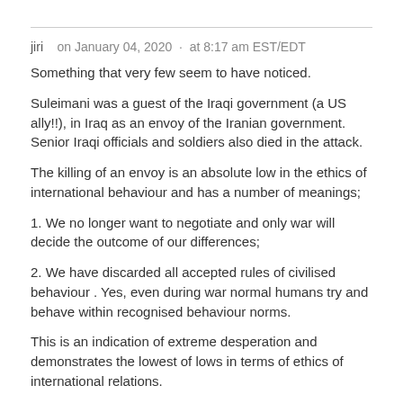jiri  on January 04, 2020 · at 8:17 am EST/EDT
Something that very few seem to have noticed.
Suleimani was a guest of the Iraqi government (a US ally!!), in Iraq as an envoy of the Iranian government. Senior Iraqi officials and soldiers also died in the attack.
The killing of an envoy is an absolute low in the ethics of international behaviour and has a number of meanings;
1. We no longer want to negotiate and only war will decide the outcome of our differences;
2. We have discarded all accepted rules of civilised behaviour . Yes, even during war normal humans try and behave within recognised behaviour norms.
This is an indication of extreme desperation and demonstrates the lowest of lows in terms of ethics of international relations.
As such it is a bit odd for The Saker to say the following: